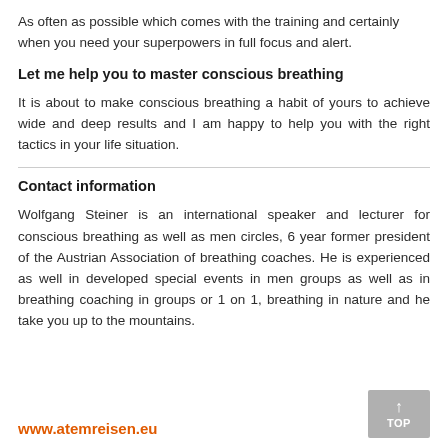As often as possible which comes with the training and certainly when you need your superpowers in full focus and alert.
Let me help you to master conscious breathing
It is about to make conscious breathing a habit of yours to achieve wide and deep results and I am happy to help you with the right tactics in your life situation.
Contact information
Wolfgang Steiner is an international speaker and lecturer for conscious breathing as well as men circles, 6 year former president of the Austrian Association of breathing coaches. He is experienced as well in developed special events in men groups as well as in breathing coaching in groups or 1 on 1, breathing in nature and he take you up to the mountains.
www.atemreisen.eu